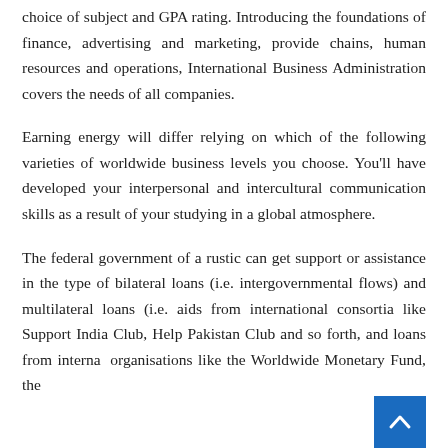choice of subject and GPA rating. Introducing the foundations of finance, advertising and marketing, provide chains, human resources and operations, International Business Administration covers the needs of all companies.
Earning energy will differ relying on which of the following varieties of worldwide business levels you choose. You'll have developed your interpersonal and intercultural communication skills as a result of your studying in a global atmosphere.
The federal government of a rustic can get support or assistance in the type of bilateral loans (i.e. intergovernmental flows) and multilateral loans (i.e. aids from international consortia like Support India Club, Help Pakistan Club and so forth, and loans from internal organisations like the Worldwide Monetary Fund, the